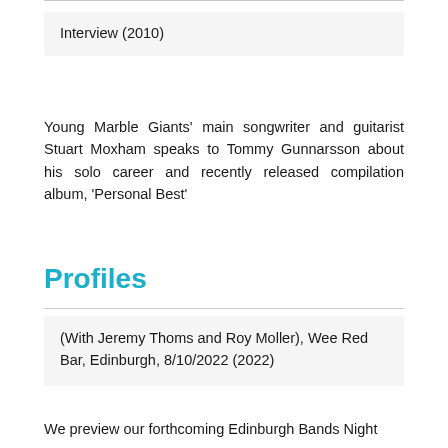Interview (2010)
Young Marble Giants' main songwriter and guitarist Stuart Moxham speaks to Tommy Gunnarsson about his solo career and recently released compilation album, 'Personal Best'
Profiles
(With Jeremy Thoms and Roy Moller), Wee Red Bar, Edinburgh, 8/10/2022 (2022)
We preview our forthcoming Edinburgh Bands Night